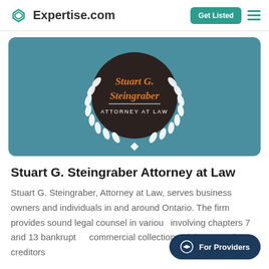Expertise.com
[Figure (logo): Stuart G. Steingraber Attorney at Law circular logo with laurel wreath on teal banner background]
Stuart G. Steingraber Attorney at Law
Stuart G. Steingraber, Attorney at Law, serves business owners and individuals in and around Ontario. The firm provides sound legal counsel in various matters involving chapters 7 and 13 bankruptcy, commercial collections, debtors, and creditors